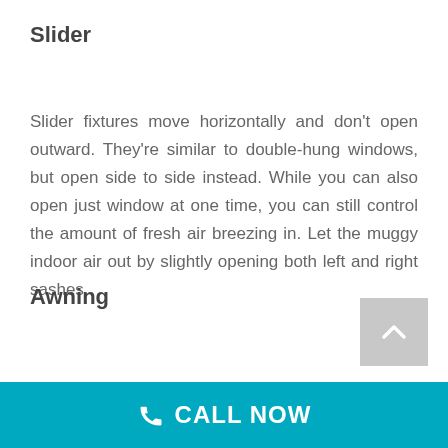Slider
Slider fixtures move horizontally and don't open outward. They're similar to double-hung windows, but open side to side instead. While you can also open just window at one time, you can still control the amount of fresh air breezing in. Let the muggy indoor air out by slightly opening both left and right sashes.
Awning
CALL NOW